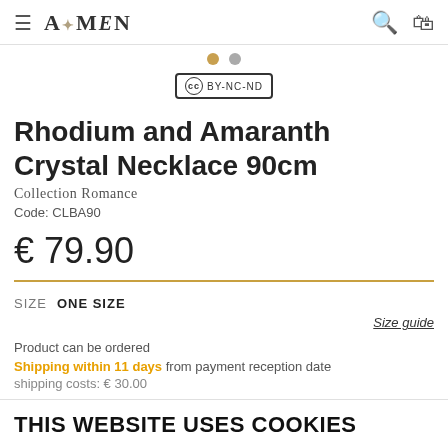A*MEN
[Figure (other): Two navigation dots: one gold, one gray]
[Figure (other): Creative Commons BY-NC-ND license badge]
Rhodium and Amaranth Crystal Necklace 90cm
Collection Romance
Code: CLBA90
€ 79.90
SIZE   ONE SIZE
Size guide
Product can be ordered
Shipping within 11 days from payment reception date
shipping costs: € 30.00
THIS WEBSITE USES COOKIES